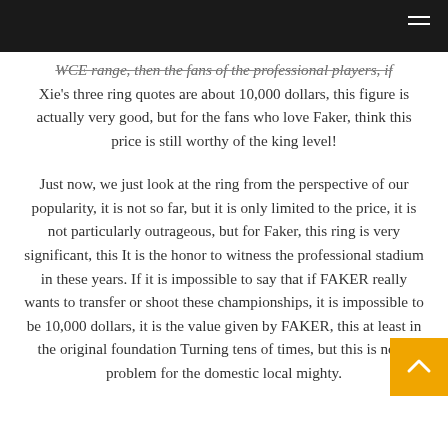WCE range, then the fans of the professional players, if Xie's three ring quotes are about 10,000 dollars, this figure is actually very good, but for the fans who love Faker, think this price is still worthy of the king level!
Just now, we just look at the ring from the perspective of our popularity, it is not so far, but it is only limited to the price, it is not particularly outrageous, but for Faker, this ring is very significant, this It is the honor to witness the professional stadium in these years. If it is impossible to say that if FAKER really wants to transfer or shoot these championships, it is impossible to be 10,000 dollars, it is the value given by FAKER, this at least in the original foundation Turning tens of times, but this is not a problem for the domestic local mighty.